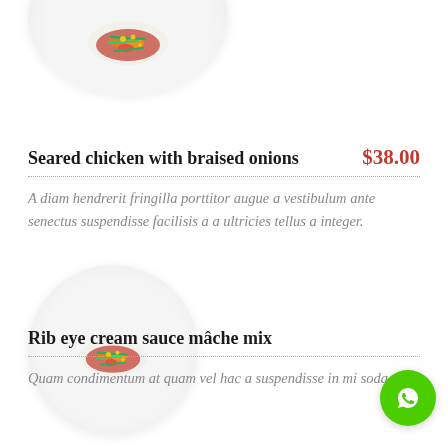[Figure (photo): Partial view of a white plate with colorful food (vegetables, red sauce, green beans) at top of page]
Seared chicken with braised onions
$38.00
A diam hendrerit fringilla porttitor augue a vestibulum ante senectus suspendisse facilisis a a ultricies tellus a integer.
[Figure (photo): White plate with colorful food (vegetables, red sauce, green beans)]
Rib eye cream sauce mâche mix
Quam condimentum at quam vel hac a suspendisse in mi soda...